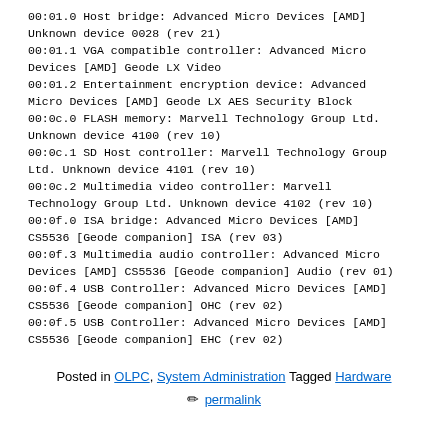00:01.0 Host bridge: Advanced Micro Devices [AMD] Unknown device 0028 (rev 21)
00:01.1 VGA compatible controller: Advanced Micro Devices [AMD] Geode LX Video
00:01.2 Entertainment encryption device: Advanced Micro Devices [AMD] Geode LX AES Security Block
00:0c.0 FLASH memory: Marvell Technology Group Ltd. Unknown device 4100 (rev 10)
00:0c.1 SD Host controller: Marvell Technology Group Ltd. Unknown device 4101 (rev 10)
00:0c.2 Multimedia video controller: Marvell Technology Group Ltd. Unknown device 4102 (rev 10)
00:0f.0 ISA bridge: Advanced Micro Devices [AMD] CS5536 [Geode companion] ISA (rev 03)
00:0f.3 Multimedia audio controller: Advanced Micro Devices [AMD] CS5536 [Geode companion] Audio (rev 01)
00:0f.4 USB Controller: Advanced Micro Devices [AMD] CS5536 [Geode companion] OHC (rev 02)
00:0f.5 USB Controller: Advanced Micro Devices [AMD] CS5536 [Geode companion] EHC (rev 02)
Posted in OLPC, System Administration Tagged Hardware
✏ permalink